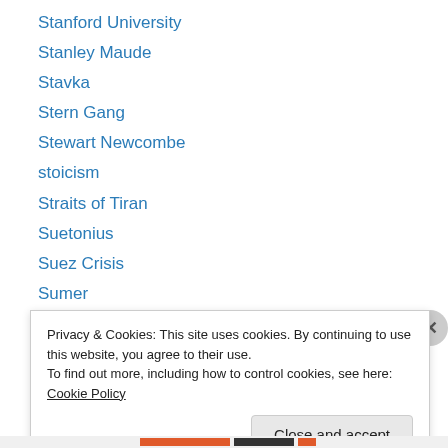Stanford University
Stanley Maude
Stavka
Stern Gang
Stewart Newcombe
stoicism
Straits of Tiran
Suetonius
Suez Crisis
Sumer
Sumero-Babylonian
Sunni
Suvla Bay
Privacy & Cookies: This site uses cookies. By continuing to use this website, you agree to their use.
To find out more, including how to control cookies, see here: Cookie Policy